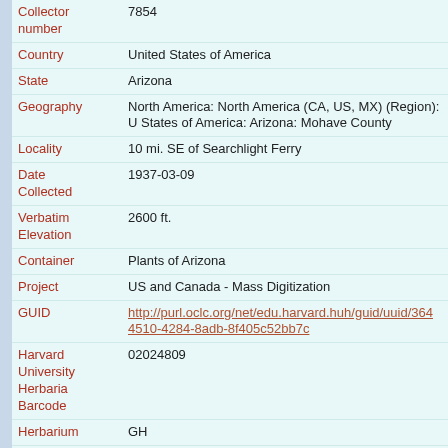| Field | Value |
| --- | --- |
| Collector number | 7854 |
| Country | United States of America |
| State | Arizona |
| Geography | North America: North America (CA, US, MX) (Region): United States of America: Arizona: Mohave County |
| Locality | 10 mi. SE of Searchlight Ferry |
| Date Collected | 1937-03-09 |
| Verbatim Elevation | 2600 ft. |
| Container | Plants of Arizona |
| Project | US and Canada - Mass Digitization |
| GUID | http://purl.oclc.org/net/edu.harvard.huh/guid/uuid/3644510-4284-8adb-8f405c52bb7c |
| Harvard University Herbaria Barcode | 02024809 |
| Herbarium | GH |
| Family | Boraginaceae |
| Determination | Cryptantha nevadensis A. Nelson & P. B. Kennedy |